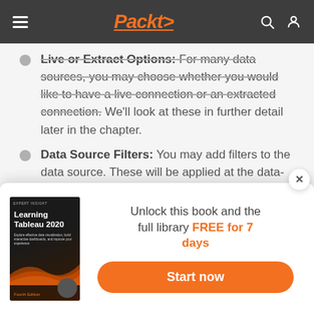Packt>
Live or Extract Options: For many data sources, you may choose whether you would like to have a live connection or an extracted connection. We'll look at these in further detail later in the chapter.
Data Source Filters: You may add filters to the data source. These will be applied at the data-source level, and thus to all views of the data using this data source in the workbook
[Figure (screenshot): Popup banner advertising 'Learning Tableau 2020' book. Shows book cover on the left and text 'Unlock this book and the full library FREE for 7 days' with 'Start now' button.]
Unlock this book and the full library FREE for 7 days
Start now